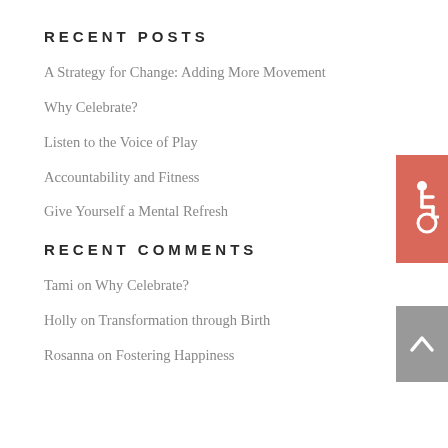RECENT POSTS
A Strategy for Change: Adding More Movement
Why Celebrate?
Listen to the Voice of Play
Accountability and Fitness
Give Yourself a Mental Refresh
RECENT COMMENTS
Tami on Why Celebrate?
Holly on Transformation through Birth
Rosanna on Fostering Happiness
[Figure (illustration): Salmon/coral colored accessibility icon button on right side]
[Figure (illustration): Gray back-to-top arrow button on right side]